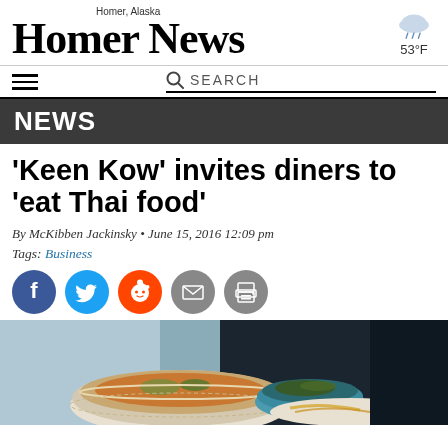Homer, Alaska — HOMER NEWS — 53°F
NEWS
‘Keen Kow’ invites diners to ‘eat Thai food’
By McKibben Jackinsky • June 15, 2016 12:09 pm
Tags: Business
[Figure (infographic): Social share buttons: Facebook (blue), Twitter (blue), Reddit (orange), Email (gray), Print (gray)]
[Figure (photo): Photo of Thai food bowls — soup with vegetables in a decorative bowl and a blue bowl, on a dark background]